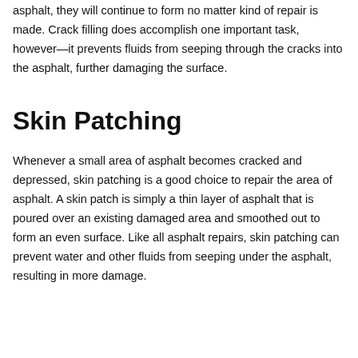asphalt, they will continue to form no matter kind of repair is made. Crack filling does accomplish one important task, however—it prevents fluids from seeping through the cracks into the asphalt, further damaging the surface.
Skin Patching
Whenever a small area of asphalt becomes cracked and depressed, skin patching is a good choice to repair the area of asphalt. A skin patch is simply a thin layer of asphalt that is poured over an existing damaged area and smoothed out to form an even surface. Like all asphalt repairs, skin patching can prevent water and other fluids from seeping under the asphalt, resulting in more damage.